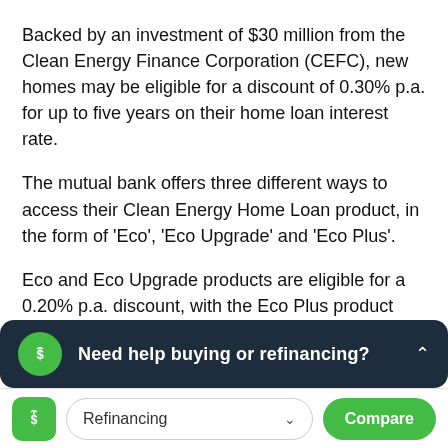Backed by an investment of $30 million from the Clean Energy Finance Corporation (CEFC), new homes may be eligible for a discount of 0.30% p.a. for up to five years on their home loan interest rate.
The mutual bank offers three different ways to access their Clean Energy Home Loan product, in the form of 'Eco', 'Eco Upgrade' and 'Eco Plus'.
Eco and Eco Upgrade products are eligible for a 0.20% p.a. discount, with the Eco Plus product eligible for the increased 0.30% p.a. discount depending on eligibility criteria.
Cu[stomers qualify for the Eco Plus Clean E[nergy] Ho[me Loan product]...
with the addition of solar panels or by using the new
[Figure (infographic): Dark navy overlay banner with green circular icon containing a dollar plant symbol, text 'Need help buying or refinancing?' and an up chevron arrow on the right.]
[Figure (infographic): Bottom navigation bar with green logo icon, 'Refinancing' dropdown selector, and green 'Compare' button.]